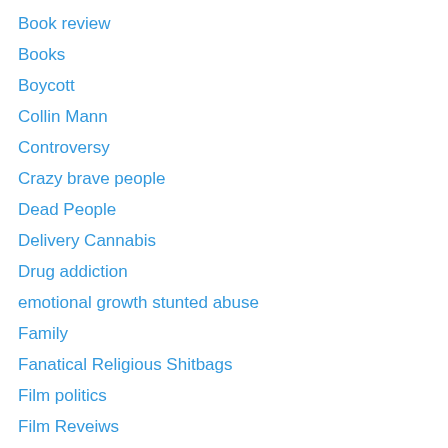Book review
Books
Boycott
Collin Mann
Controversy
Crazy brave people
Dead People
Delivery Cannabis
Drug addiction
emotional growth stunted abuse
Family
Fanatical Religious Shitbags
Film politics
Film Reveiws
football
FUNNY SHIT
Jamie Lee Curtis
Kam Babazade
Kratom
Laurie Birmingham Fan